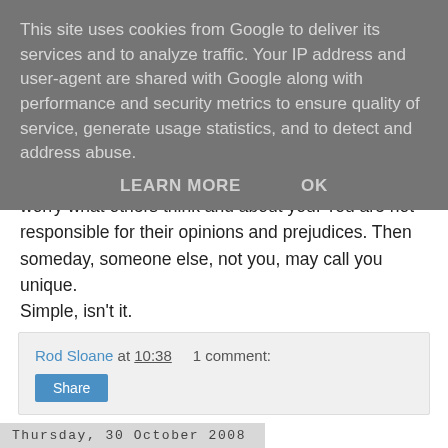This site uses cookies from Google to deliver its services and to analyze traffic. Your IP address and user-agent are shared with Google along with performance and security metrics to ensure quality of service, generate usage statistics, and to detect and address abuse.
LEARN MORE    OK
worry what others think and about you. You are not responsible for their opinions and prejudices. Then someday, someone else, not you, may call you unique.
Simple, isn't it.
Cue “Perfect Day”
Rod Sloane at 10:38    1 comment:
Share
Thursday, 30 October 2008